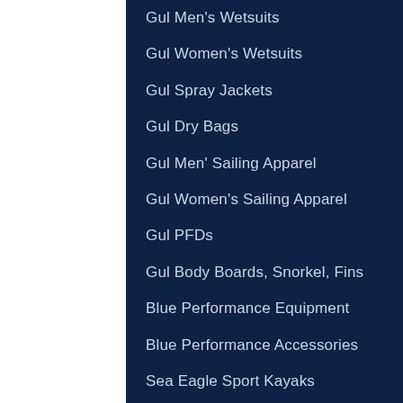Gul Men's Wetsuits
Gul Women's Wetsuits
Gul Spray Jackets
Gul Dry Bags
Gul Men' Sailing Apparel
Gul Women's Sailing Apparel
Gul PFDs
Gul Body Boards, Snorkel, Fins
Blue Performance Equipment
Blue Performance Accessories
Sea Eagle Sport Kayaks
Sea Eagle SUPs
Sea Eagle Accessories
Adventure Med.../Marine